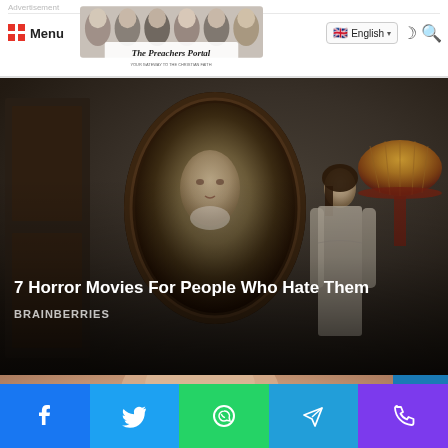Advertisement | Menu | The Preachers Portal | English
[Figure (photo): Horror scene with girl looking at antique oval mirror with face reflection, vintage lamp on right, dark moody atmosphere. Text overlay: '7 Horror Movies For People Who Hate Them' and 'BRAINBERRIES']
[Figure (photo): Partial blurred face/portrait image, cropped, appearing at bottom of page]
Social share buttons: Facebook, Twitter, WhatsApp, Telegram, Phone